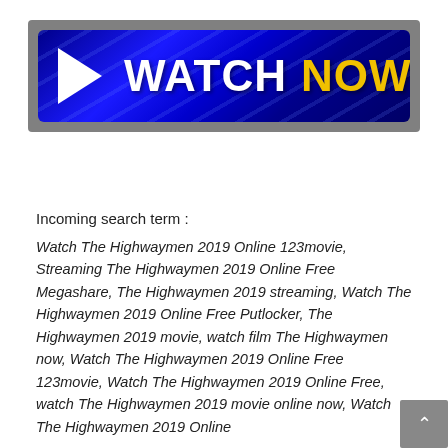[Figure (illustration): A blue play button banner with a white play triangle arrow on the left and the text WATCH in white bold and NOW in yellow bold on a dark blue background with diagonal light streaks, surrounded by a gray border.]
Incoming search term :
Watch The Highwaymen 2019 Online 123movie, Streaming The Highwaymen 2019 Online Free Megashare, The Highwaymen 2019 streaming, Watch The Highwaymen 2019 Online Free Putlocker, The Highwaymen 2019 movie, watch film The Highwaymen now, Watch The Highwaymen 2019 Online Free 123movie, Watch The Highwaymen 2019 Online Free, watch The Highwaymen 2019 movie online now, Watch The Highwaymen 2019 Online